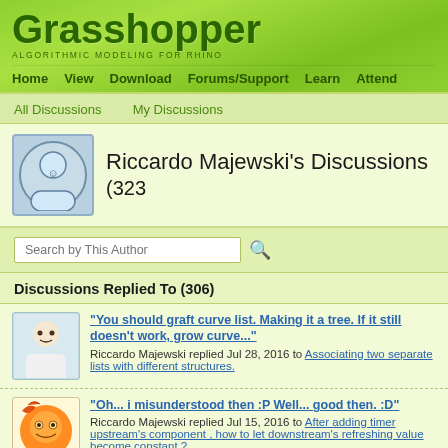Grasshopper
ALGORITHMIC MODELING FOR RHINO
Home  View  Download  Forums/Support  Learn  Attend
All Discussions   My Discussions
Riccardo Majewski's Discussions (323)
Search by This Author
Discussions Replied To (306)
"You should graft curve list. Making it a tree. If it still doesn't work, grow curve..."
Riccardo Majewski replied Jul 28, 2016 to Associating two separate lists with different structures.
"Oh... i misunderstood then :P Well... good then. :D"
Riccardo Majewski replied Jul 15, 2016 to After adding timer upstream's component , how to let downstream's refreshing value become constant ?
"Hi again, Winsion. I don't get what are you aiming for. What kind of sorting/extract..."